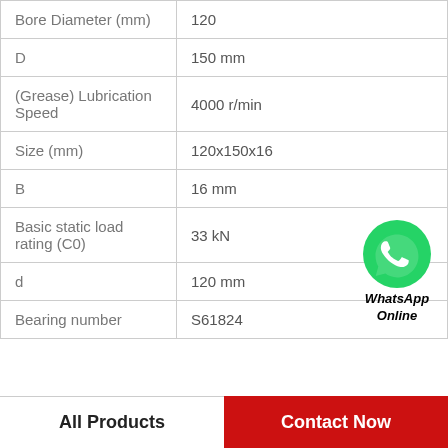| Property | Value |
| --- | --- |
| Bore Diameter (mm) | 120 |
| D | 150 mm |
| (Grease) Lubrication Speed | 4000 r/min |
| Size (mm) | 120x150x16 |
| B | 16 mm |
| Basic static load rating (C0) | 33 kN |
| d | 120 mm |
| Bearing number | S61824 |
[Figure (logo): WhatsApp Online badge with green WhatsApp icon and bold italic text 'WhatsApp Online']
All Products
Contact Now